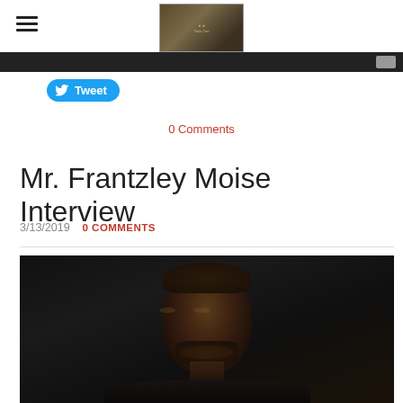[hamburger menu icon] [site logo/banner image]
[Figure (screenshot): Dark navigation bar with a light button on the right]
[Figure (illustration): Twitter Tweet button (blue pill-shaped button with Twitter bird icon and 'Tweet' text)]
0 Comments
Mr. Frantzley Moise Interview
3/13/2019   0 COMMENTS
[Figure (photo): Portrait photograph of a Black man with a beard, looking upward against a dark background]